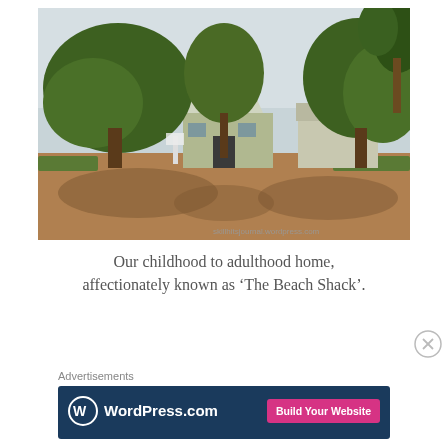[Figure (photo): Old photograph of a small house with a tin roof surrounded by large trees, with a dirt driveway in front. Watermark reads 'skillhitsjournal.wordpress.com'.]
Our childhood to adulthood home, affectionately known as ‘The Beach Shack’.
Advertisements